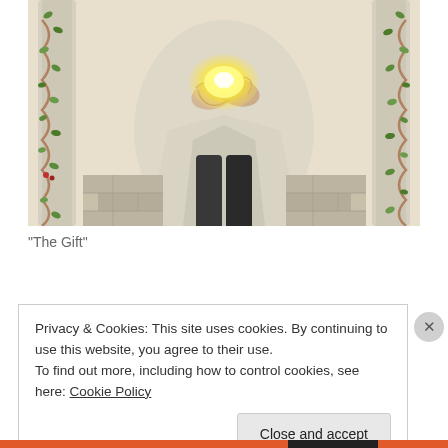[Figure (illustration): A pencil and colored illustration showing a robed figure seated between two ornate columns wrapped with vines and leaves, holding a glowing yellow light in cupped hands. The figure wears a long white/grey robe with dark leggings. Stone wall segments visible in the background.]
"The Gift"
Privacy & Cookies: This site uses cookies. By continuing to use this website, you agree to their use.
To find out more, including how to control cookies, see here: Cookie Policy